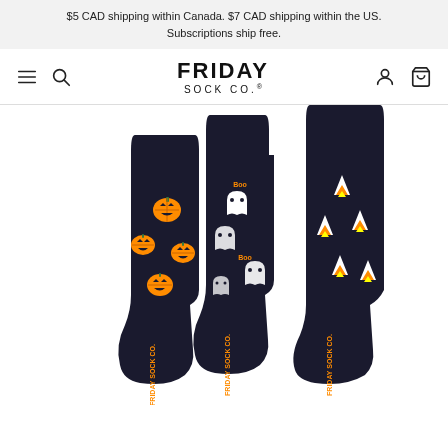$5 CAD shipping within Canada. $7 CAD shipping within the US. Subscriptions ship free.
FRIDAY SOCK CO.
[Figure (photo): Three Halloween-themed black socks displayed side by side: left sock has orange jack-o-lantern pumpkins, middle sock has white ghosts with 'Boo' text, right sock has candy corn designs. Friday Sock Co. branding on soles.]